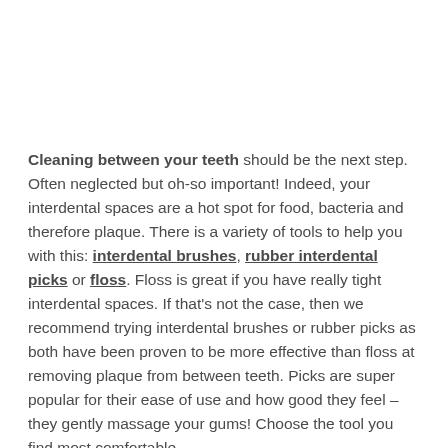Cleaning between your teeth should be the next step. Often neglected but oh-so important! Indeed, your interdental spaces are a hot spot for food, bacteria and therefore plaque. There is a variety of tools to help you with this: interdental brushes, rubber interdental picks or floss. Floss is great if you have really tight interdental spaces. If that's not the case, then we recommend trying interdental brushes or rubber picks as both have been proven to be more effective than floss at removing plaque from between teeth. Picks are super popular for their ease of use and how good they feel – they gently massage your gums! Choose the tool you find most comfortable.